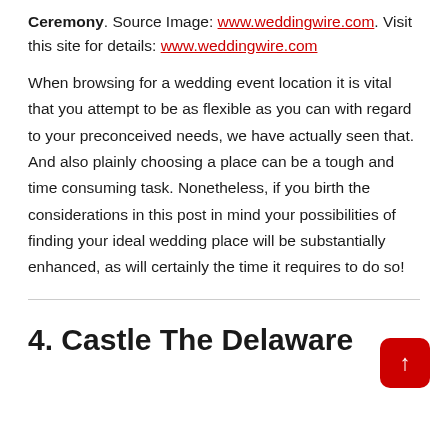Ceremony. Source Image: www.weddingwire.com. Visit this site for details: www.weddingwire.com
When browsing for a wedding event location it is vital that you attempt to be as flexible as you can with regard to your preconceived needs, we have actually seen that. And also plainly choosing a place can be a tough and time consuming task. Nonetheless, if you birth the considerations in this post in mind your possibilities of finding your ideal wedding place will be substantially enhanced, as will certainly the time it requires to do so!
4. Castle The Delaware